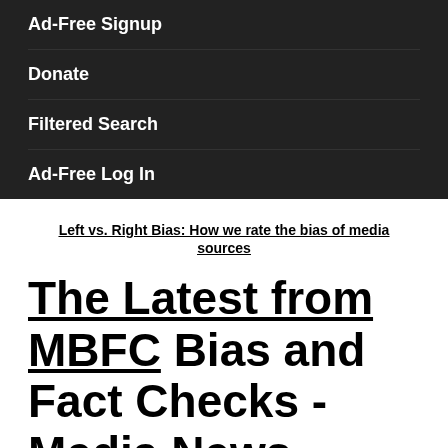Ad-Free Signup
Donate
Filtered Search
Ad-Free Log In
Left vs. Right Bias: How we rate the bias of media sources
The Latest from MBFC Bias and Fact Checks - Media News
The Latest Fact Checks